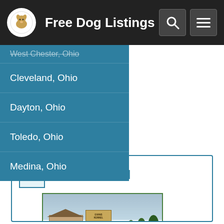Free Dog Listings
West Chester, Ohio
Cleveland, Ohio
Dayton, Ohio
Toledo, Ohio
Medina, Ohio
Evans Kennel
[Figure (photo): Exterior photo of Evans Kennel showing a single-story building, a sign reading EVANS KENNEL, trees and landscaping with yellow bushes in the foreground]